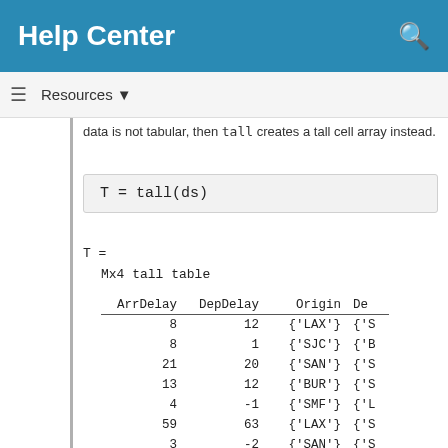Help Center
data is not tabular, then tall creates a tall cell array instead.
T =

    Mx4 tall table

    ArrDelay    DepDelay    Origin    De
    ________    ________    ______    __

    8           12          {'LAX'}   {'S
    8            1          {'SJC'}   {'B
    21          20          {'SAN'}   {'S
    13          12          {'BUR'}   {'S
    4           -1          {'SMF'}   {'L
    59          63          {'LAX'}   {'S
    3           -2          {'SAN'}   {'S
    11           1          {'SEA'}   {'